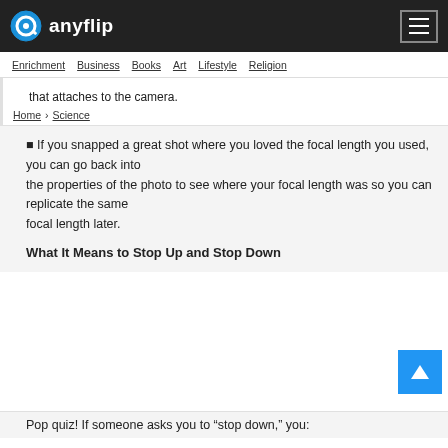anyflip
Enrichment | Business | Books | Art | Lifestyle | Religion
that attaches to the camera.
Home > Science
■ If you snapped a great shot where you loved the focal length you used, you can go back into the properties of the photo to see where your focal length was so you can replicate the same focal length later.
What It Means to Stop Up and Stop Down
Pop quiz! If someone asks you to “stop down,” you: